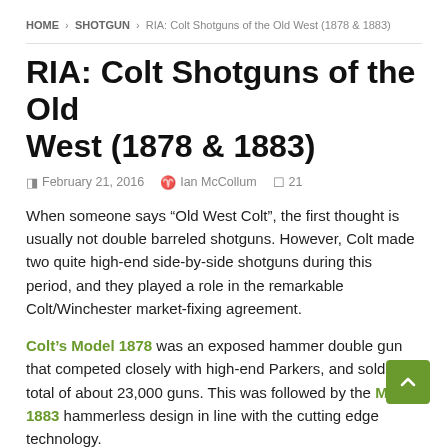HOME > SHOTGUN > RIA: Colt Shotguns of the Old West (1878 & 1883)
RIA: Colt Shotguns of the Old West (1878 & 1883)
February 21, 2016 · Ian McCollum · 21
When someone says “Old West Colt”, the first thought is usually not double barreled shotguns. However, Colt made two quite high-end side-by-side shotguns during this period, and they played a role in the remarkable Colt/Winchester market-fixing agreement.
Colt’s Model 1878 was an exposed hammer double gun that competed closely with high-end Parkers, and sold a total of about 23,000 guns. This was followed by the Model 1883 hammerless design in line with the cutting edge technology.